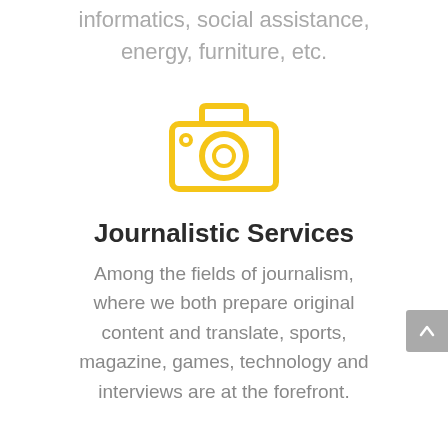informatics, social assistance, energy, furniture, etc.
[Figure (illustration): Yellow camera icon outline]
Journalistic Services
Among the fields of journalism, where we both prepare original content and translate, sports, magazine, games, technology and interviews are at the forefront.